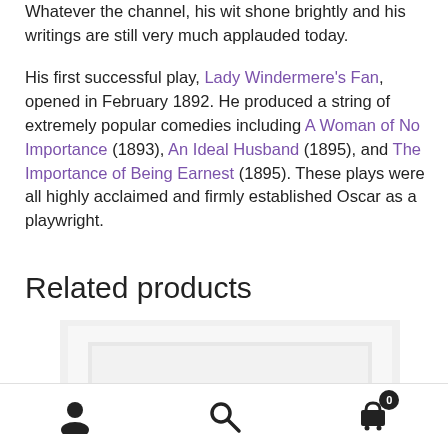Whatever the channel, his wit shone brightly and his writings are still very much applauded today.

His first successful play, Lady Windermere's Fan, opened in February 1892. He produced a string of extremely popular comedies including A Woman of No Importance (1893), An Ideal Husband (1895), and The Importance of Being Earnest (1895). These plays were all highly acclaimed and firmly established Oscar as a playwright.
Related products
[Figure (photo): A white book or product placeholder image with a recessed rectangular panel design on a white background]